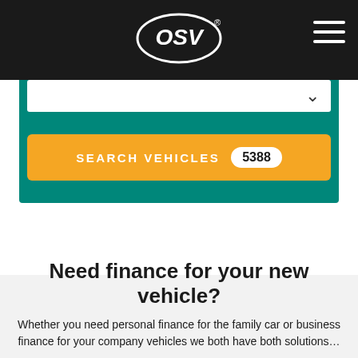OSV
[Figure (screenshot): OSV logo on dark header bar with hamburger menu icon on the right]
SEARCH VEHICLES 5388
Need finance for your new vehicle?
Whether you need personal finance for the family car or business finance for your company vehicles, we have both covered with our solutions…